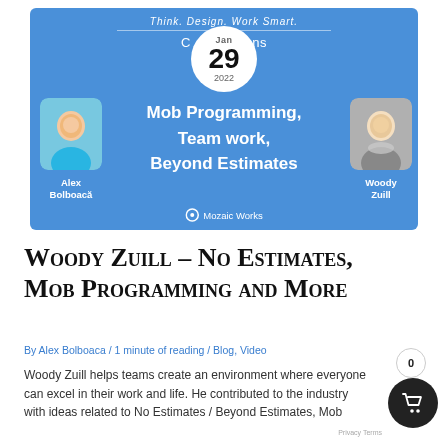[Figure (illustration): Blue banner with 'Think. Design. Work Smart.' tagline, a circular date badge showing Jan 29 2022, two speaker photos (Alex Bolboaca on left, Woody Zuill on right), bold white text reading 'Mob Programming, Team work, Beyond Estimates', and Mozaic Works logo at bottom center.]
Woody Zuill – No Estimates, Mob Programming and More
By Alex Bolboaca / 1 minute of reading / Blog, Video
Woody Zuill helps teams create an environment where everyone can excel in their work and life. He contributed to the industry with ideas related to No Estimates / Beyond Estimates, Mob...